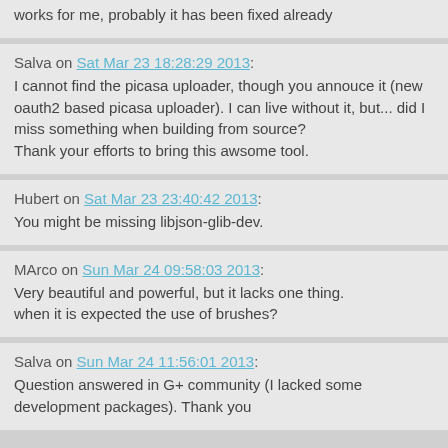works for me, probably it has been fixed already
Salva on Sat Mar 23 18:28:29 2013: I cannot find the picasa uploader, though you annouce it (new oauth2 based picasa uploader). I can live without it, but... did I miss something when building from source? Thank your efforts to bring this awsome tool.
Hubert on Sat Mar 23 23:40:42 2013: You might be missing libjson-glib-dev.
MArco on Sun Mar 24 09:58:03 2013: Very beautiful and powerful, but it lacks one thing. when it is expected the use of brushes?
Salva on Sun Mar 24 11:56:01 2013: Question answered in G+ community (I lacked some development packages). Thank you